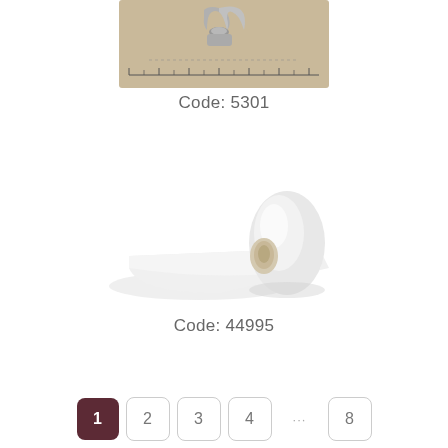[Figure (photo): A metal staple remover tool placed on a brown paper surface with a ruler/scale at the bottom]
Code: 5301
[Figure (photo): A roll of white paper or fabric unrolling on a white background]
Code: 44995
1  2  3  4  ...  8